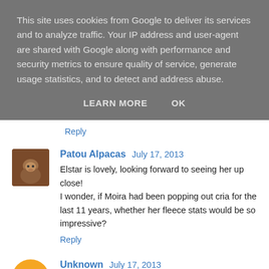This site uses cookies from Google to deliver its services and to analyze traffic. Your IP address and user-agent are shared with Google along with performance and security metrics to ensure quality of service, generate usage statistics, and to detect and address abuse.
LEARN MORE    OK
Reply
Patou Alpacas  July 17, 2013
Elstar is lovely, looking forward to seeing her up close! I wonder, if Moira had been popping out cria for the last 11 years, whether her fleece stats would be so impressive?
Reply
Unknown  July 17, 2013
Lovely photos